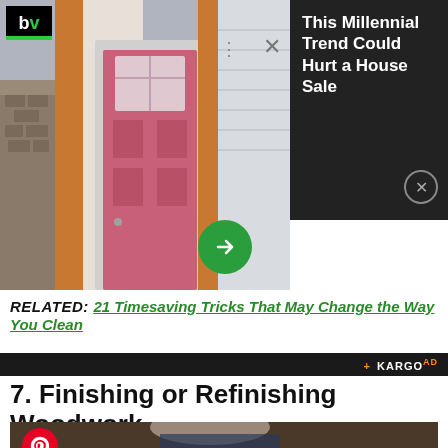[Figure (screenshot): A pink front door of a house, with stone pillars and orange/brown trim visible. Overlaid with a navigation arrow button (green circle with right arrow), bv logo top-left, ellipsis and close X overlaid, and a dark ad panel on the right showing 'This Millennial Trend Could Hurt a House Sale' with a close button.]
RELATED: 21 Timesaving Tricks That May Change the Way You Clean
+ KARGO AD
7. Finishing or Refinishing Woodwork
[Figure (photo): An older man with gray hair leaning over, working on woodworking. A Pinterest icon overlays the top-left corner of the image.]